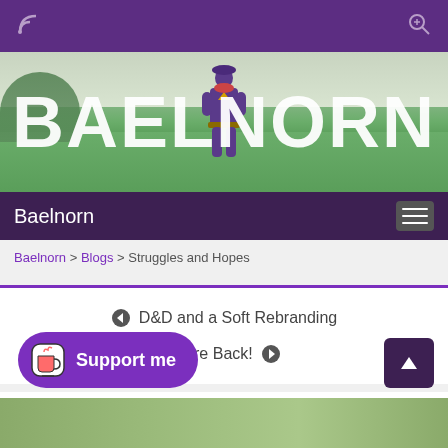Baelnorn — toolbar with RSS and search icons
[Figure (photo): Hero banner with outdoor field background and costumed figure, large white 'BAELNORN' text overlay]
Baelnorn — navigation bar with hamburger menu
Baelnorn > Blogs > Struggles and Hopes
D&D and a Soft Rebranding
We're Back!
Struggles and Hopes
MAY 27
[Figure (screenshot): Support me button (Ko-fi style) with cup icon on purple rounded background]
[Figure (photo): Bottom image strip showing outdoor field scene]